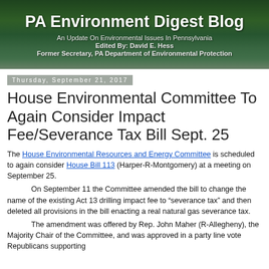PA Environment Digest Blog
An Update On Environmental Issues In Pennsylvania
Edited By: David E. Hess
Former Secretary, PA Department of Environmental Protection
Thursday, September 21, 2017
House Environmental Committee To Again Consider Impact Fee/Severance Tax Bill Sept. 25
The House Environmental Resources and Energy Committee is scheduled to again consider House Bill 113 (Harper-R-Montgomery) at a meeting on September 25.
        On September 11 the Committee amended the bill to change the name of the existing Act 13 drilling impact fee to “severance tax” and then deleted all provisions in the bill enacting a real natural gas severance tax.
        The amendment was offered by Rep. John Maher (R-Allegheny), the Majority Chair of the Committee, and was approved in a party line vote Republicans supporting...